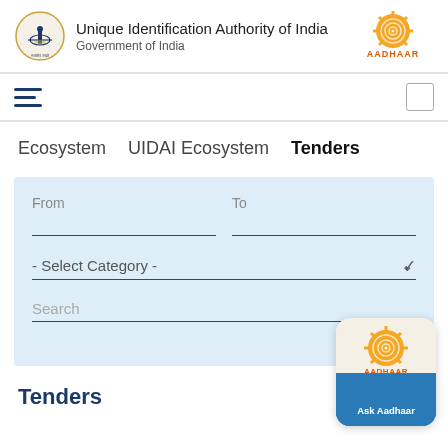Unique Identification Authority of India — Government of India — AADHAAR logo
[Figure (logo): Government of India emblem (Ashoka Pillar)]
Unique Identification Authority of India
Government of India
[Figure (logo): AADHAAR logo — orange sunburst design with text AADHAAR]
[Figure (infographic): Navigation bar with hamburger menu icon and a search/icon box]
Ecosystem   UIDAI Ecosystem   Tenders
From
To
- Select Category -
Search
Clear filter
Tenders
[Figure (logo): Ask Aadhaar floating chat widget with AADHAAR logo and wave background]